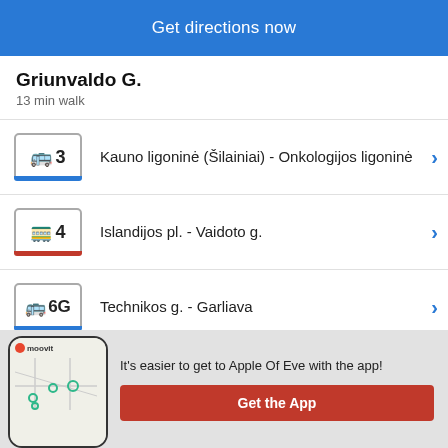Get directions now
Griunvaldo G.
13 min walk
3 Kauno ligoninė (Šilainiai) - Onkologijos ligoninė
4 Islandijos pl. - Vaidoto g.
6G Technikos g. - Garliava
It's easier to get to Apple Of Eve with the app!
Get the App